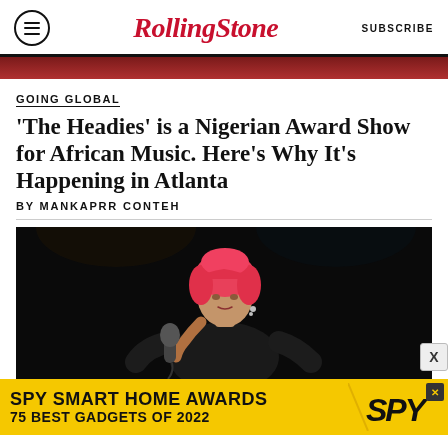Rolling Stone | SUBSCRIBE
[Figure (photo): Partial strip of a photo at top of page, appearing reddish/brownish tones]
GOING GLOBAL
'The Headies' is a Nigerian Award Show for African Music. Here's Why It's Happening in Atlanta
BY MANKAPRR CONTEH
[Figure (photo): A performer with pink/red hair singing into a microphone against a dark/black background, wearing a black outfit]
[Figure (infographic): Advertisement banner: SPY SMART HOME AWARDS 75 BEST GADGETS OF 2022 with SPY logo on yellow background]